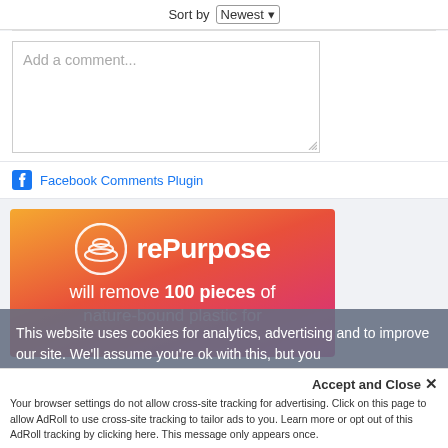Sort by Newest ▾
Add a comment...
Facebook Comments Plugin
[Figure (illustration): rePurpose advertisement banner with gradient orange-to-pink background. Shows rePurpose logo (circular wave/layers icon) and brand name, with text: will remove 100 pieces of nature-bound plastic for]
This website uses cookies for analytics, advertising and to improve our site. We'll assume you're ok with this, but you
Accept and Close ✕
Your browser settings do not allow cross-site tracking for advertising. Click on this page to allow AdRoll to use cross-site tracking to tailor ads to you. Learn more or opt out of this AdRoll tracking by clicking here. This message only appears once.